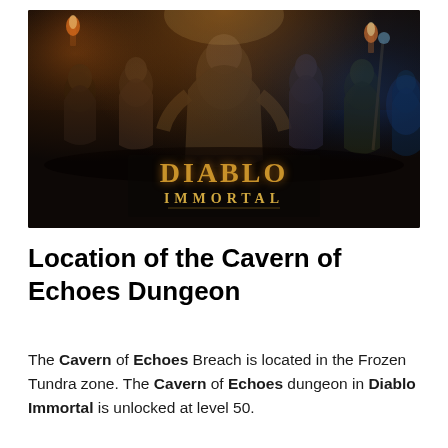[Figure (illustration): Diablo Immortal promotional artwork showing six character classes standing together in a dark fantasy dungeon setting with torchlight. The Diablo Immortal logo is displayed prominently in the center-bottom of the image.]
Location of the Cavern of Echoes Dungeon
The Cavern of Echoes Breach is located in the Frozen Tundra zone. The Cavern of Echoes dungeon in Diablo Immortal is unlocked at level 50.